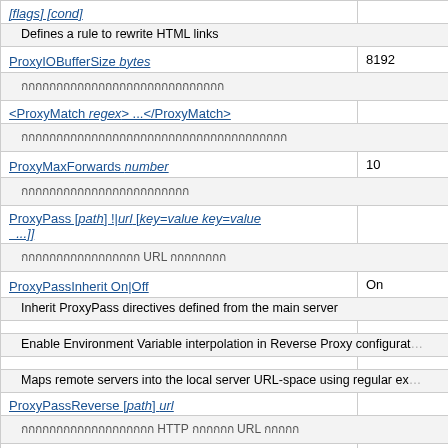| Directive | Default |
| --- | --- |
| [flags] [cond] |  |
| Defines a rule to rewrite HTML links |  |
| ProxyIOBufferSize bytes | 8192 |
| [Thai text] |  |
| <ProxyMatch regex> ...</ProxyMatch> |  |
| [Thai text] |  |
| ProxyMaxForwards number | 10 |
| [Thai text] |  |
| ProxyPass [path] !|url [key=value key=value ...]] |  |
| [Thai text] URL [Thai text] |  |
| ProxyPassInherit On|Off | On |
| Inherit ProxyPass directives defined from the main server |  |
| Enable Environment Variable interpolation in Reverse Proxy configuration |  |
| Maps remote servers into the local server URL-space using regular expressions |  |
| ProxyPassReverse [path] url |  |
| [Thai text] HTTP [Thai text] URL [Thai text] |  |
| ProxyPassReverseCookieDomain internal-domain public-domain |  |
| [Thai text] Set-Cookie [Thai text] Domain [Thai text] |  |
| ProxyPassReverseCookiePath internal-path ... |  |